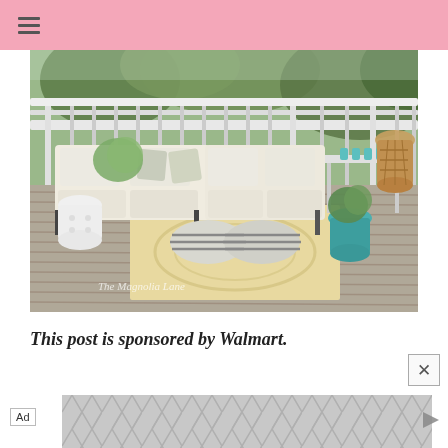≡ (hamburger menu)
[Figure (photo): An outdoor deck with white sectional sofa, striped ottomans, patterned outdoor rug, metal frame furniture, potted plants, teal accents, and white railing with trees in background. Watermark reads 'The Magnolia Lane'.]
This post is sponsored by Walmart.
[Figure (other): Advertisement banner with gray chevron/hexagon pattern and 'Ad' label on the left and a play/forward icon on the right.]